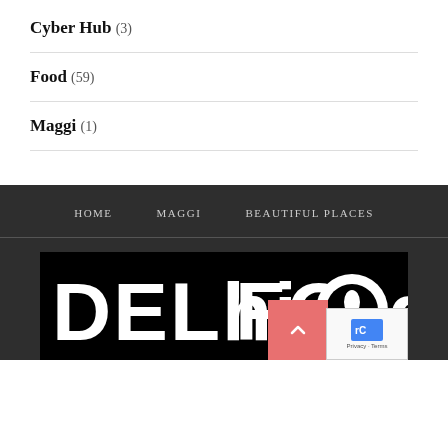Cyber Hub (3)
Food (59)
Maggi (1)
HOME   MAGGI   BEAUTIFUL PLACES
[Figure (logo): Delhi Food logo in white text on black background with food-themed letter styling]